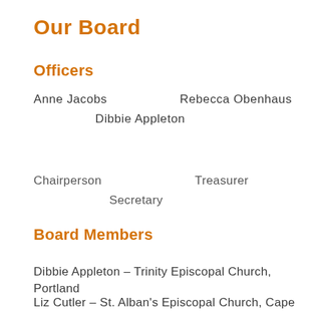Our Board
Officers
Anne Jacobs   Rebecca Obenhaus
   Dibbie Appleton
Chairperson   Treasurer
   Secretary
Board Members
Dibbie Appleton – Trinity Episcopal Church, Portland
Liz Cutler – St. Alban's Episcopal Church, Cape